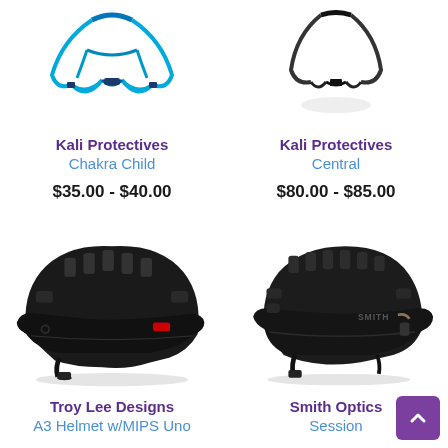[Figure (photo): Kali Protectives Chakra Child helmet - blue color, child size bicycle helmet with chin strap]
Kali Protectives
Chakra Child
$35.00 - $40.00
[Figure (photo): Kali Protectives Central helmet - black bicycle helmet with chin strap]
Kali Protectives
Central
$80.00 - $85.00
[Figure (photo): Troy Lee Designs A3 Helmet w/MIPS Uno - black mountain bike helmet with visor and red accent]
Troy Lee Designs
A3 Helmet w/MIPS Uno
[Figure (photo): Smith Optics Session helmet - black mountain bike helmet with SMITH branding]
Smith Optics
Session